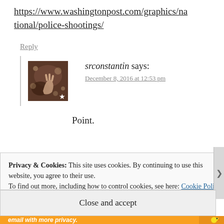https://www.washingtonpost.com/graphics/national/police-shootings/
Reply
srconstantin says:
December 8, 2016 at 12:53 pm
Point.
Privacy & Cookies: This site uses cookies. By continuing to use this website, you agree to their use.
To find out more, including how to control cookies, see here: Cookie Policy
Close and accept